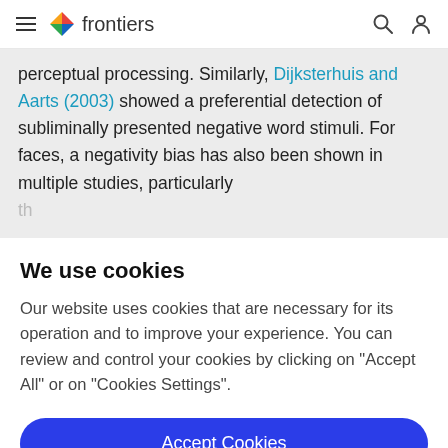frontiers
perceptual processing. Similarly, Dijksterhuis and Aarts (2003) showed a preferential detection of subliminally presented negative word stimuli. For faces, a negativity bias has also been shown in multiple studies, particularly th...
We use cookies
Our website uses cookies that are necessary for its operation and to improve your experience. You can review and control your cookies by clicking on "Accept All" or on "Cookies Settings".
Accept Cookies
Cookies Settings